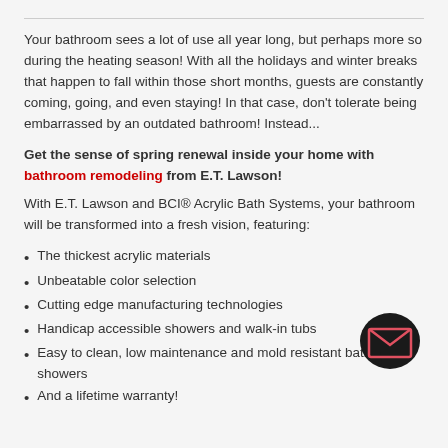Your bathroom sees a lot of use all year long, but perhaps more so during the heating season! With all the holidays and winter breaks that happen to fall within those short months, guests are constantly coming, going, and even staying! In that case, don't tolerate being embarrassed by an outdated bathroom! Instead...
Get the sense of spring renewal inside your home with bathroom remodeling from E.T. Lawson!
With E.T. Lawson and BCI® Acrylic Bath Systems, your bathroom will be transformed into a fresh vision, featuring:
The thickest acrylic materials
Unbeatable color selection
Cutting edge manufacturing technologies
Handicap accessible showers and walk-in tubs
Easy to clean, low maintenance and mold resistant baths and showers
And a lifetime warranty!